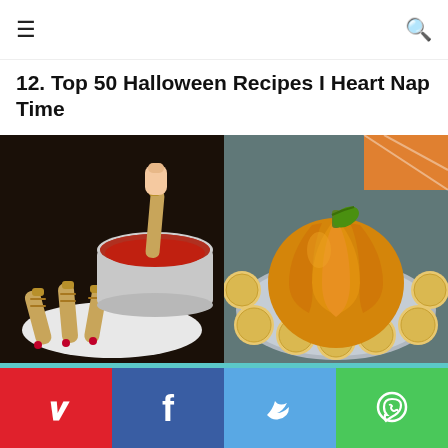☰  🔍
12. Top 50 Halloween Recipes I Heart Nap Time
[Figure (photo): Two Halloween food photos side by side: left shows witch finger cookies being dipped in red sauce, right shows a pumpkin-shaped cheese ball surrounded by round crackers]
[Figure (infographic): Teal banner with dashed border rectangle]